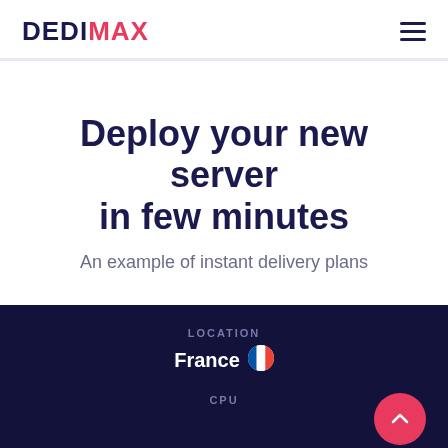DEDIMAX
Deploy your new server in few minutes
An example of instant delivery plans
[Figure (screenshot): Dark card showing LOCATION: France (with French flag emoji) and CPU label at bottom, with a pink circular back-to-top button]